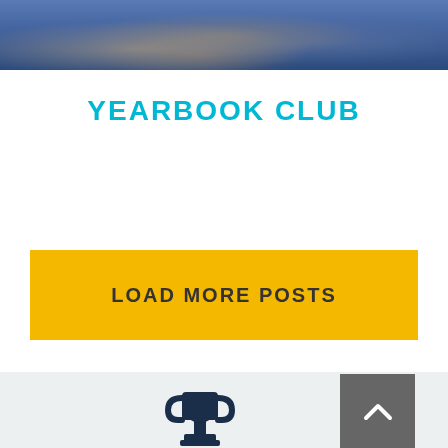[Figure (photo): Photo banner showing people holding books or papers, with dark blue background, cropped at top of page]
YEARBOOK CLUB
LOAD MORE POSTS
[Figure (illustration): Trophy icon in dark navy color in footer area]
[Figure (other): Back to top button with chevron/caret up arrow, dark gray background]